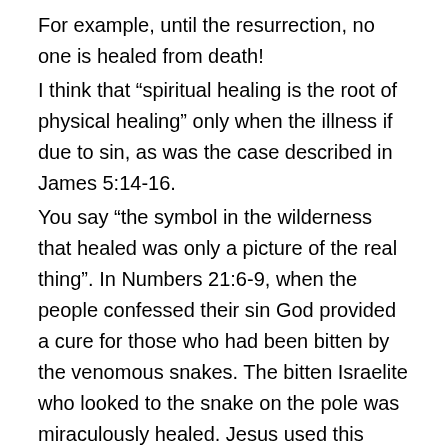For example, until the resurrection, no one is healed from death! I think that “spiritual healing is the root of physical healing” only when the illness if due to sin, as was the case described in James 5:14-16. You say “the symbol in the wilderness that healed was only a picture of the real thing”. In Numbers 21:6-9, when the people confessed their sin God provided a cure for those who had been bitten by the venomous snakes. The bitten Israelite who looked to the snake on the pole was miraculously healed. Jesus used this incident to illustrate how the new birth takes place (John 3:14-15). So the physical healing in the time of Moses was an illustration of spiritual